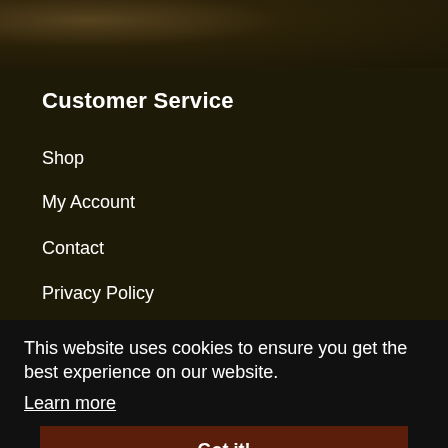[Figure (photo): Top banner with dark brown textured background image, partially visible]
Customer Service
Shop
My Account
Contact
Privacy Policy
Terms and Conditions
This website uses cookies to ensure you get the best experience on our website.
Learn more
Industry Leading
Firearm Dealers Queensland
Got it!
Guns For Sale Brisbane
Guns For Sale Qld